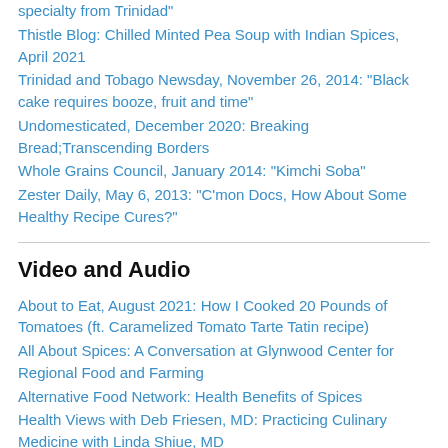specialty from Trinidad"
Thistle Blog: Chilled Minted Pea Soup with Indian Spices, April 2021
Trinidad and Tobago Newsday, November 26, 2014: "Black cake requires booze, fruit and time"
Undomesticated, December 2020: Breaking Bread;Transcending Borders
Whole Grains Council, January 2014: "Kimchi Soba"
Zester Daily, May 6, 2013: "C'mon Docs, How About Some Healthy Recipe Cures?"
Video and Audio
About to Eat, August 2021: How I Cooked 20 Pounds of Tomatoes (ft. Caramelized Tomato Tarte Tatin recipe)
All About Spices: A Conversation at Glynwood Center for Regional Food and Farming
Alternative Food Network: Health Benefits of Spices
Health Views with Deb Friesen, MD: Practicing Culinary Medicine with Linda Shiue, MD